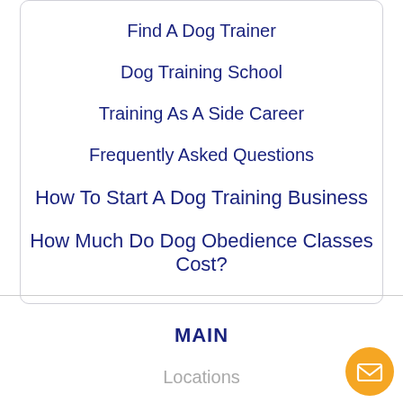Find A Dog Trainer
Dog Training School
Training As A Side Career
Frequently Asked Questions
How To Start A Dog Training Business
How Much Do Dog Obedience Classes Cost?
MAIN
Locations